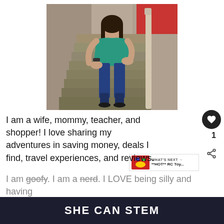[Figure (photo): Woman sitting on wooden stairs, wearing a teal top and dark blue jeans with black heels, smiling at the camera. Background shows wooden structure and a red element.]
I am a wife, mommy, teacher, and shopper! I love sharing my adventures in saving money, deals I find, travel experiences, and reviews.
I am goofy. I am a nerd. I LOVE being silly and having fun! ... , brand
SHE CAN STEM